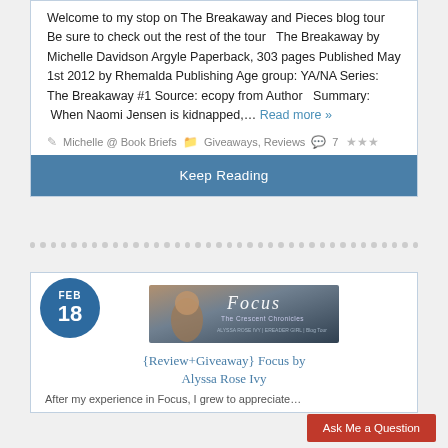Welcome to my stop on The Breakaway and Pieces blog tour Be sure to check out the rest of the tour   The Breakaway by Michelle Davidson Argyle Paperback, 303 pages Published May 1st 2012 by Rhemalda Publishing Age group: YA/NA Series: The Breakaway #1 Source: ecopy from Author   Summary:  When Naomi Jensen is kidnapped,… Read more »
Michelle @ Book Briefs   Giveaways, Reviews   7 ★★★
Keep Reading
[Figure (illustration): Focus - The Crescent Chronicles book banner image with a girl and fantasy text]
{Review+Giveaway} Focus by Alyssa Rose Ivy
Ask Me a Question